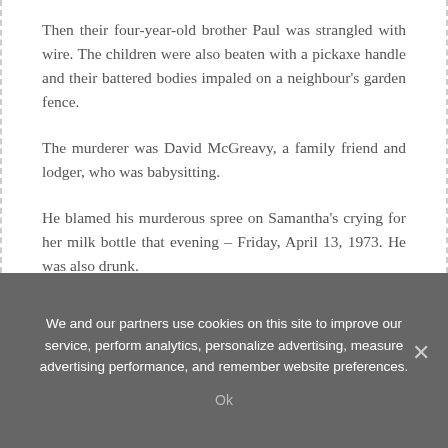Then their four-year-old brother Paul was strangled with wire. The children were also beaten with a pickaxe handle and their battered bodies impaled on a neighbour's garden fence.
The murderer was David McGreavy, a family friend and lodger, who was babysitting.
He blamed his murderous spree on Samantha's crying for her milk bottle that evening – Friday, April 13, 1973. He was also drunk.
[Figure (photo): A young smiling girl looking down at a tablet device, wearing a striped shirt.]
We and our partners use cookies on this site to improve our service, perform analytics, personalize advertising, measure advertising performance, and remember website preferences.
Ok